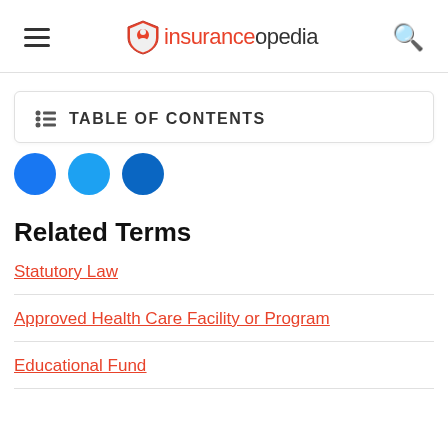insuranceopedia
TABLE OF CONTENTS
Related Terms
Statutory Law
Approved Health Care Facility or Program
Educational Fund